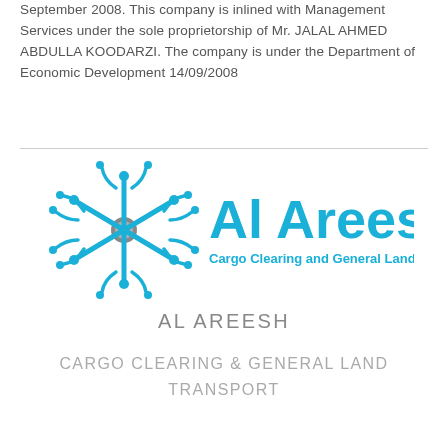September 2008. This company is inlined with Management Services under the sole proprietorship of Mr. JALAL AHMED ABDULLA KOODARZI. The company is under the Department of Economic Development 14/09/2008
[Figure (logo): Al Areesh logo — a blue snowflake/asterisk symbol with a grey center circle and six blue curved arm connectors, beside the text 'Al Areesh' in large blue letters and 'Cargo Clearing and General Land Transport' in smaller blue bold text below.]
AL AREESH
CARGO CLEARING & GENERAL LAND TRANSPORT